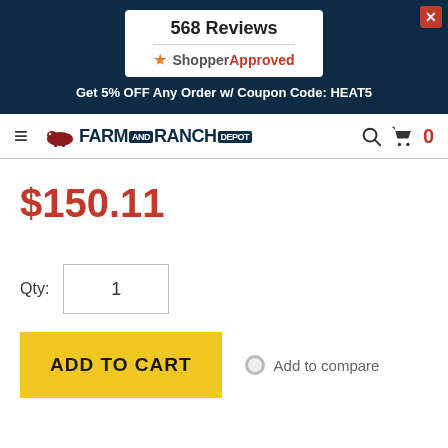568 Reviews
[Figure (logo): ShopperApproved logo with star icon]
Get 5% OFF Any Order w/ Coupon Code: HEAT5
[Figure (logo): Farm and Ranch Depot logo with cow icon]
$150.11
Qty: 1
ADD TO CART
Add to compare